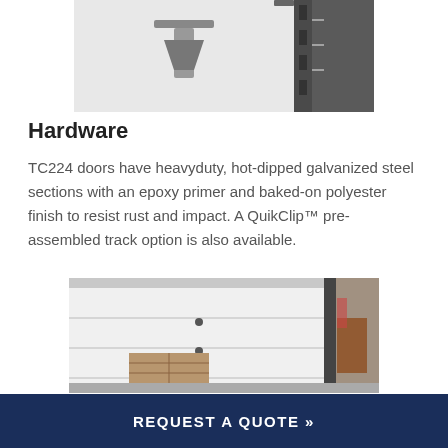[Figure (photo): Close-up photo of garage door hardware mechanism mounted on a wall]
Hardware
TC224 doors have heavyduty, hot-dipped galvanized steel sections with an epoxy primer and baked-on polyester finish to resist rust and impact. A QuikClip™ pre-assembled track option is also available.
[Figure (photo): Garage door interior view showing white door panels with hardware, a wooden crate on the floor, and items in a garage]
REQUEST A QUOTE »